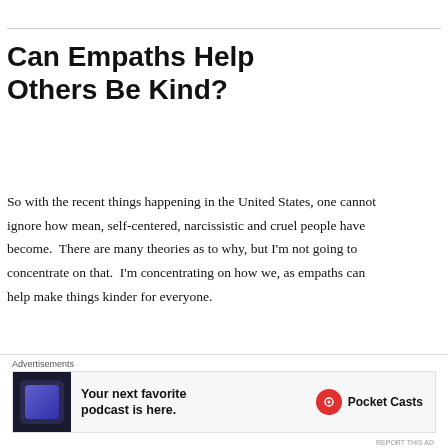Can Empaths Help Others Be Kind?
So with the recent things happening in the United States, one cannot ignore how mean, self-centered, narcissistic and cruel people have become.  There are many theories as to why, but I’m not going to concentrate on that.  I’m concentrating on how we, as empaths can help make things kinder for everyone.
[Figure (other): Advertisement banner for Pocket Casts podcast app with text 'Your next favorite podcast is here.' and Pocket Casts logo]